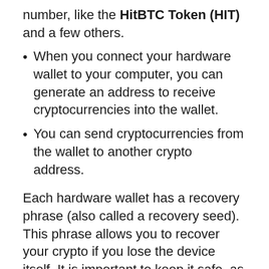number, like the HitBTC Token (HIT) and a few others.
When you connect your hardware wallet to your computer, you can generate an address to receive cryptocurrencies into the wallet.
You can send cryptocurrencies from the wallet to another crypto address.
Each hardware wallet has a recovery phrase (also called a recovery seed). This phrase allows you to recover your crypto if you lose the device itself. It is important to keep it safe, as anyone who has it can take your crypto.
Offline crypto storage is widely considered the best option from a security standpoint